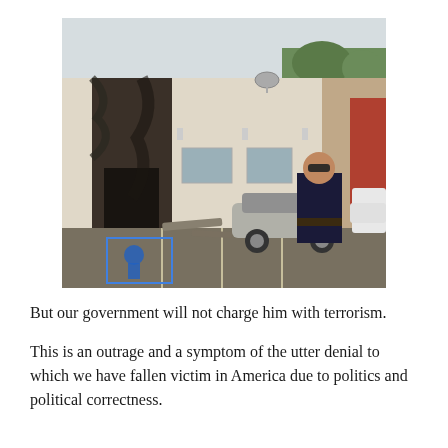[Figure (photo): A police officer in sunglasses and uniform stands in a parking lot in front of a white building with fire/smoke damage around a doorway. A silver car is parked behind him. A handicap parking space is visible on the ground.]
But our government will not charge him with terrorism.
This is an outrage and a symptom of the utter denial to which we have fallen victim in America due to politics and political correctness.